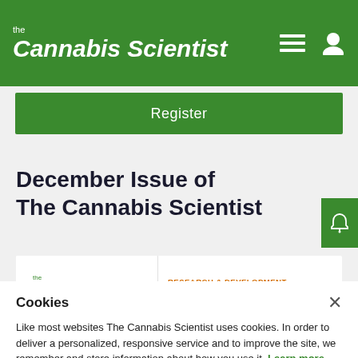the Cannabis Scientist
Register
December Issue of The Cannabis Scientist
[Figure (logo): The Cannabis Scientist magazine logo with decorative line and infinity symbol]
RESEARCH & DEVELOPMENT
Easy as C-B-C
Cookies
Like most websites The Cannabis Scientist uses cookies. In order to deliver a personalized, responsive service and to improve the site, we remember and store information about how you use it. Learn more.